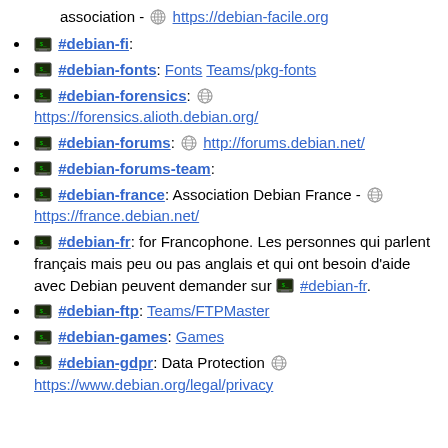association - https://debian-facile.org
#debian-fi:
#debian-fonts: Fonts Teams/pkg-fonts
#debian-forensics: https://forensics.alioth.debian.org/
#debian-forums: http://forums.debian.net/
#debian-forums-team:
#debian-france: Association Debian France - https://france.debian.net/
#debian-fr: for Francophone. Les personnes qui parlent français mais peu ou pas anglais et qui ont besoin d'aide avec Debian peuvent demander sur #debian-fr.
#debian-ftp: Teams/FTPMaster
#debian-games: Games
#debian-gdpr: Data Protection https://www.debian.org/legal/privacy